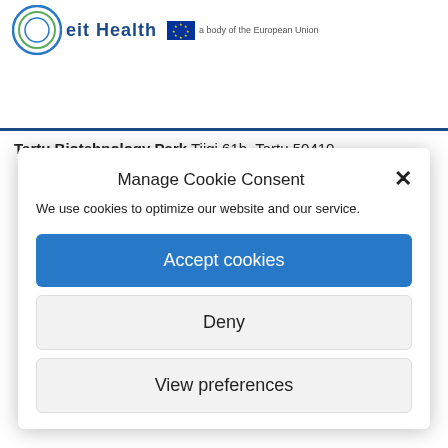[Figure (logo): EIT Health logo with circular icon and EU body of the European Union badge]
Tartu Biotehnology Park Tiigi 61b, Tartu 50410,
Manage Cookie Consent
We use cookies to optimize our website and our service.
Accept cookies
Deny
View preferences